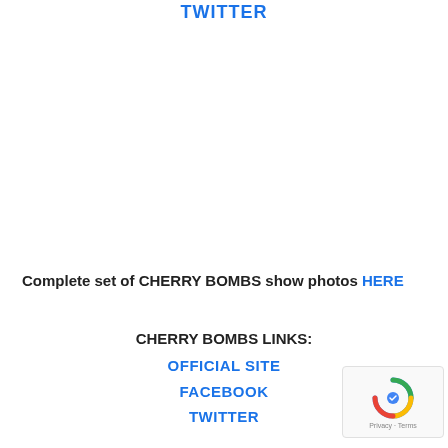TWITTER
Complete set of CHERRY BOMBS show photos HERE
CHERRY BOMBS LINKS:
OFFICIAL SITE
FACEBOOK
TWITTER